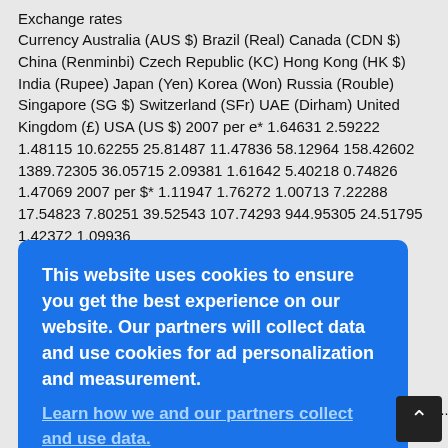Exchange rates
Currency Australia (AUS $) Brazil (Real) Canada (CDN $) China (Renminbi) Czech Republic (KC) Hong Kong (HK $) India (Rupee) Japan (Yen) Korea (Won) Russia (Rouble) Singapore (SG $) Switzerland (SFr) UAE (Dirham) United Kingdom (£) USA (US $) 2007 per e* 1.64631 2.59222 1.48115 10.62255 25.81487 11.47836 58.12964 158.42602 1389.72305 36.05715 2.09381 1.61642 5.40218 0.74826 1.47069 2007 per $* 1.11947 1.76272 1.00713 7.22288 17.54823 7.80251 39.52543 107.74293 944.95305 24.51795 1.42372 1.09936
This website uses cookies to ensure you get the best experience on our website. Our partners will collect data and use cookies for ad personalization and measurement.
Learn how we and our partners collect and use data.
OK
2007
leaving INSEAD. An impressive third of them rose to the challenge o...